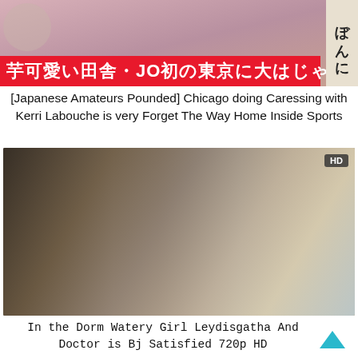[Figure (photo): Thumbnail image with Japanese text banner on red background and side panel]
[Japanese Amateurs Pounded] Chicago doing Caressing with Kerri Labouche is very Forget The Way Home Inside Sports
[Figure (photo): HD video thumbnail showing two people sitting on a couch looking at documents, with cardboard boxes in background]
In the Dorm Watery Girl Leydisgatha And Doctor is Bj Satisfied 720p HD